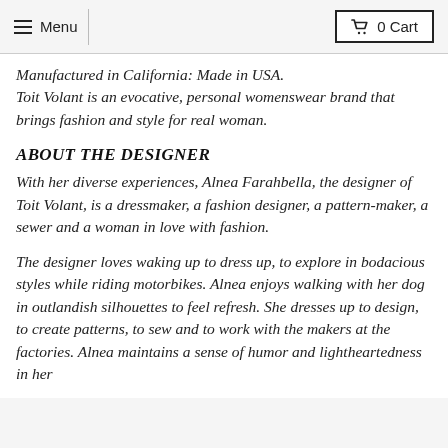Menu | 0 Cart
Manufactured in California: Made in USA. Toit Volant is an evocative, personal womenswear brand that brings fashion and style for real woman.
ABOUT THE DESIGNER
With her diverse experiences, Alnea Farahbella, the designer of Toit Volant, is a dressmaker, a fashion designer, a pattern-maker, a sewer and a woman in love with fashion.
The designer loves waking up to dress up, to explore in bodacious styles while riding motorbikes. Alnea enjoys walking with her dog in outlandish silhouettes to feel refresh. She dresses up to design, to create patterns, to sew and to work with the makers at the factories. Alnea maintains a sense of humor and lightheartedness in her